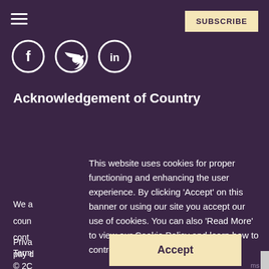SUBSCRIBE
[Figure (illustration): Social media icons: Facebook (f), Twitter (bird), LinkedIn (in), each in a circle outline on dark purple background]
Acknowledgement of Country
We a coun cont pay d past,
This website uses cookies for proper functioning and enhancing the user experience. By clicking 'Accept' on this banner or using our site you accept our use of cookies. You can also 'Read More' to view our Cookie Policy and learn how to control them. Read More
Priva Term
© 2C
[Figure (screenshot): Accept button for cookie consent, cream/yellow background with dark purple bold text 'Accept']